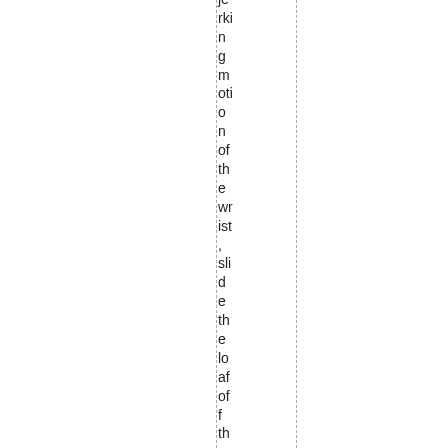jerking motion of the wrist, slide the loaf of the pizza peeled